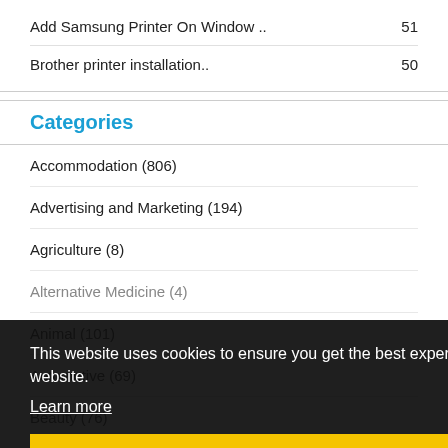Add Samsung Printer On Window ..   51
Brother printer installation..   50
Categories
Accommodation (806)
Advertising and Marketing (194)
Agriculture (8)
Alternative Medicine (4)
Animal (101)
Automotive (69)
Beauty (76)
Booking (14)
This website uses cookies to ensure you get the best experience on our website. Learn more
Got it!